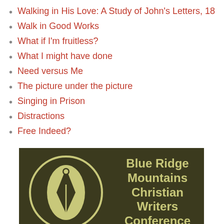Walking in His Love: A Study of John's Letters, 18
Walk in Good Works
What if I'm fruitless?
What I might have done
Need versus Me
The picture under the picture
Singing in Prison
Distractions
Free Indeed?
[Figure (logo): Blue Ridge Mountains Christian Writers Conference logo — dark olive/brown square background with a circular emblem containing a pen nib / fountain pen icon in light olive/tan color, and bold text reading 'Blue Ridge Mountains Christian Writers Conference' on the right side.]